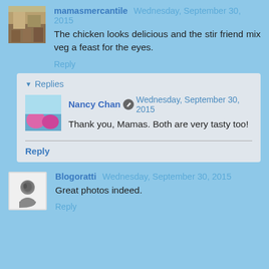mamasmercantile Wednesday, September 30, 2015
The chicken looks delicious and the stir friend mix veg a feast for the eyes.
Reply
Replies
Nancy Chan Wednesday, September 30, 2015
Thank you, Mamas. Both are very tasty too!
Reply
Blogoratti Wednesday, September 30, 2015
Great photos indeed.
Reply